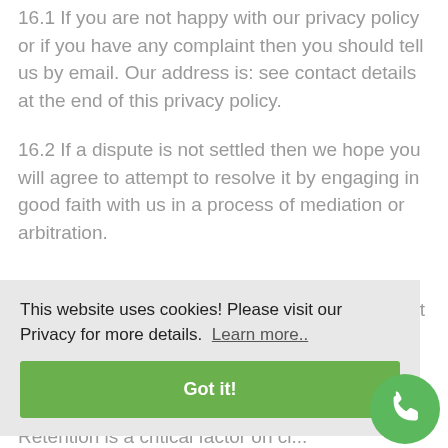16.1 If you are not happy with our privacy policy or if you have any complaint then you should tell us by email. Our address is: see contact details at the end of this privacy policy.
16.2 If a dispute is not settled then we hope you will agree to attempt to resolve it by engaging in good faith with us in a process of mediation or arbitration.
This website uses cookies! Please visit our Privacy for more details. Learn more.. Got it!
Retention is a critical factor on cl...